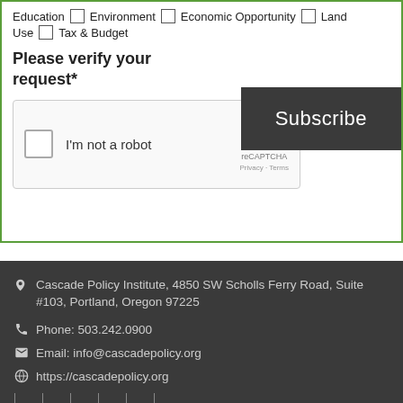Education  Environment  Economic Opportunity  Land Use  Tax & Budget
Please verify your request*
[Figure (other): reCAPTCHA widget with checkbox 'I'm not a robot', reCAPTCHA logo, Privacy and Terms links]
Subscribe
Cascade Policy Institute, 4850 SW Scholls Ferry Road, Suite #103, Portland, Oregon 97225
Phone: 503.242.0900
Email: info@cascadepolicy.org
https://cascadepolicy.org